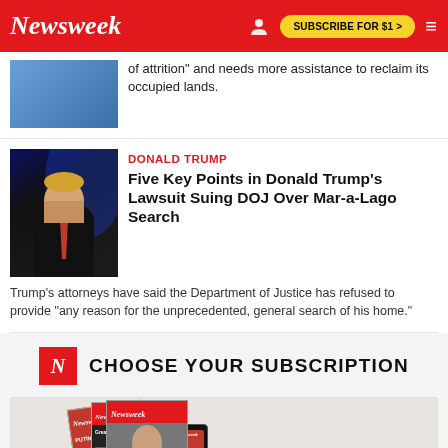Newsweek | SUBSCRIBE FOR $1 >
of attrition" and needs more assistance to reclaim its occupied lands.
DONALD TRUMP
Five Key Points in Donald Trump's Lawsuit Suing DOJ Over Mar-a-Lago Search
Trump's attorneys have said the Department of Justice has refused to provide "any reason for the unprecedented, general search of his home."
CHOOSE YOUR SUBSCRIPTION
[Figure (photo): Newsweek magazine subscription advertisement showing stacked magazine covers including titles referencing Putin and Doomsday Variant, along with a tablet and phone displaying Newsweek digital editions]